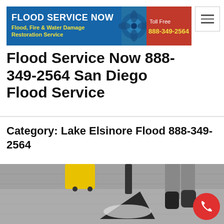[Figure (logo): Flood Service Now banner logo with blue and red background. Left side: 'FLOOD SERVICE NOW' in white bold text, 'Flood, Fire & Water Damage Restoration Service' in yellow. Right side: 'Toll Free 888-349-2564' with number in yellow. Center: blower fan image.]
Flood Service Now 888-349-2564 San Diego Flood Service
Category: Lake Elsinore Flood 888-349-2564
[Figure (photo): Photo of a worker using a carpet cleaning extraction wand on a wet grey carpet. Yellow equipment visible in background. Worker wearing dark shoes and grey pants.]